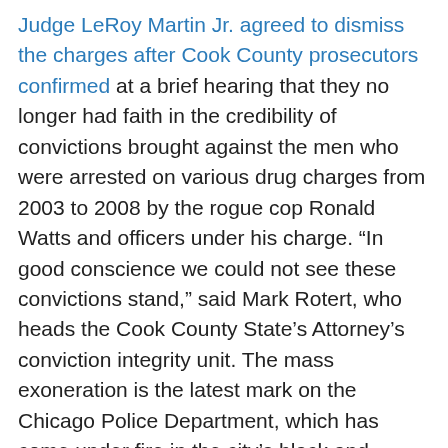Judge LeRoy Martin Jr. agreed to dismiss the charges after Cook County prosecutors confirmed at a brief hearing that they no longer had faith in the credibility of convictions brought against the men who were arrested on various drug charges from 2003 to 2008 by the rogue cop Ronald Watts and officers under his charge. "In good conscience we could not see these convictions stand," said Mark Rotert, who heads the Cook County State's Attorney's conviction integrity unit. The mass exoneration is the latest mark on the Chicago Police Department, which has come under fire in the city's black and Latino communities for unnecessarily using deadly force, police brutality and mistreatment of minorities. The U.S. Justice Department issued a scathing report in the final days of the Obama administration about the Chicago Police Department finding that the city's police force is beset by